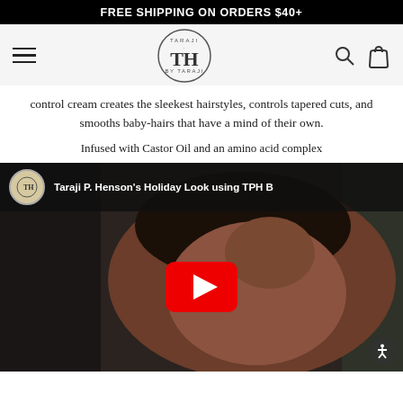FREE SHIPPING ON ORDERS $40+
[Figure (logo): TPH by Taraji logo in circle with hamburger menu, search icon, and bag icon navigation bar]
control cream creates the sleekest hairstyles, controls tapered cuts, and smooths baby-hairs that have a mind of their own.
Infused with Castor Oil and an amino acid complex
[Figure (screenshot): YouTube video thumbnail showing Taraji P. Henson with curly hair touching her head, with a red YouTube play button overlay. Video title: Taraji P. Henson's Holiday Look using TPH B]